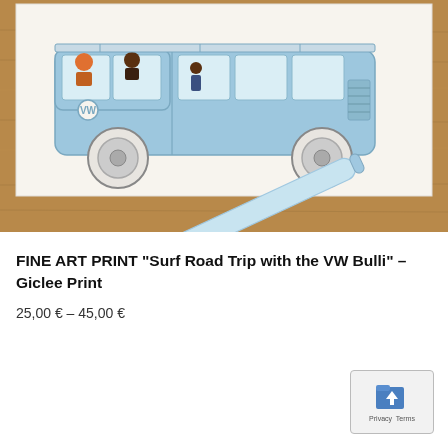[Figure (photo): Photo of a watercolor/pencil illustration of a light blue VW Bulli (Volkswagen bus) with figures inside, placed on a wooden surface with a watercolor brush pen lying beside it]
FINE ART PRINT "Surf Road Trip with the VW Bulli" – Giclee Print
25,00 € – 45,00 €